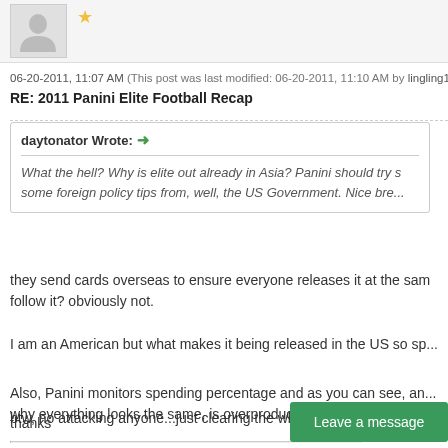[Figure (illustration): Forum user avatar placeholder with grey silhouette and gold star icon]
06-20-2011, 11:07 AM (This post was last modified: 06-20-2011, 11:10 AM by lingling1955.)
RE: 2011 Panini Elite Football Recap
daytonator Wrote: → What the hell? Why is elite out already in Asia? Panini should try some foreign policy tips from, well, the US Government. Nice bre...
they send cards overseas to ensure everyone releases it at the same time. do they follow it? obviously not.
I am an American but what makes it being released in the US so sp...
Also, Panini monitors spending percentage and as you can see, an... why everything looks the same, is overproduced and so forth...
btw, no attacking anyone...just clearing the what and whys up
thanks